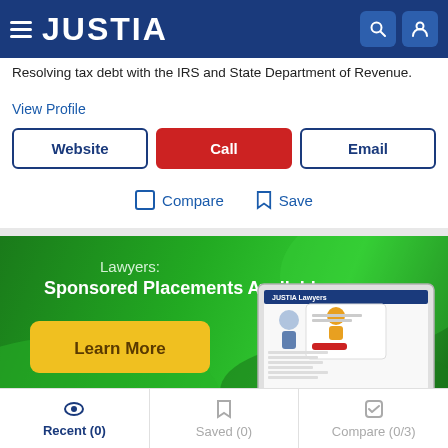[Figure (logo): Justia website header with hamburger menu, JUSTIA logo in white on dark blue background, search and user icons]
Resolving tax debt with the IRS and State Department of Revenue.
View Profile
Website | Call | Email buttons
Compare   Save
[Figure (infographic): Green banner advertisement: Lawyers: Sponsored Placements Available, Learn More button, laptop showing Justia Lawyers website]
Recent (0)   Saved (0)   Compare (0/3)